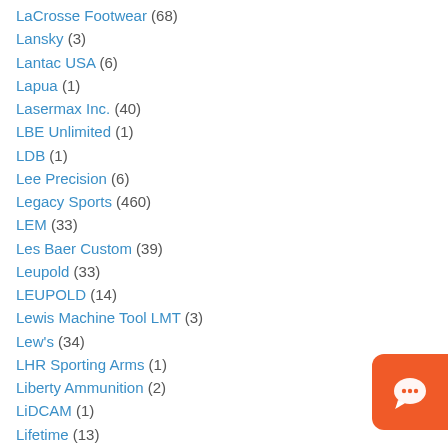LaCrosse Footwear (68)
Lansky (3)
Lantac USA (6)
Lapua (1)
Lasermax Inc. (40)
LBE Unlimited (1)
LDB (1)
Lee Precision (6)
Legacy Sports (460)
LEM (33)
Les Baer Custom (39)
Leupold (33)
LEUPOLD (14)
Lewis Machine Tool LMT (3)
Lew's (34)
LHR Sporting Arms (1)
Liberty Ammunition (2)
LiDCAM (1)
Lifetime (13)
Lifetime Decoys (8)
LiveTarget (1)
Llama (10)